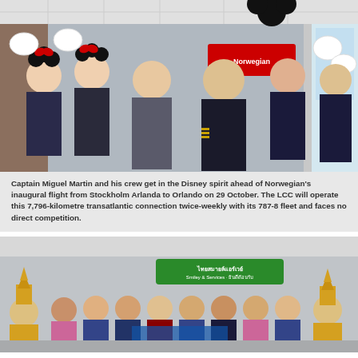[Figure (photo): Group photo of Captain Miguel Martin and airline crew wearing Mickey Mouse ears and oversized Disney gloves in an airport terminal, celebrating Norwegian's inaugural flight from Stockholm Arlanda to Orlando.]
Captain Miguel Martin and his crew get in the Disney spirit ahead of Norwegian's inaugural flight from Stockholm Arlanda to Orlando on 29 October. The LCC will operate this 7,796-kilometre transatlantic connection twice-weekly with its 787-8 fleet and faces no direct competition.
[Figure (photo): Group photo at an airport gate showing airline crew and people in traditional Thai costumes celebrating an inaugural flight, with a green airline sign visible in the background.]